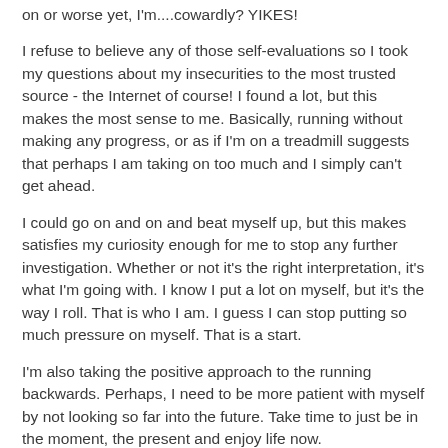on or worse yet, I'm....cowardly?  YIKES!
I refuse to believe any of those self-evaluations so I took my questions about my insecurities to the most trusted source - the Internet of course!  I found a lot, but this makes the most sense to me.  Basically, running without making any progress, or as if I'm on a treadmill suggests that perhaps I am taking on too much and I simply can't get ahead.
I could go on and on and beat myself up, but this makes satisfies my curiosity enough for me to stop any further investigation.  Whether or not it's the right interpretation, it's what I'm going with.  I know I put a lot on myself, but it's the way I roll.  That is who I am.  I guess I can stop putting so much pressure on myself.  That is a start.
I'm also taking the positive approach to the running backwards.  Perhaps, I need to be more patient with myself by not looking so far into the future.  Take time to just be in the moment, the present and enjoy life now.
Finally, the running on all-fours thing?  I have no idea?  Can